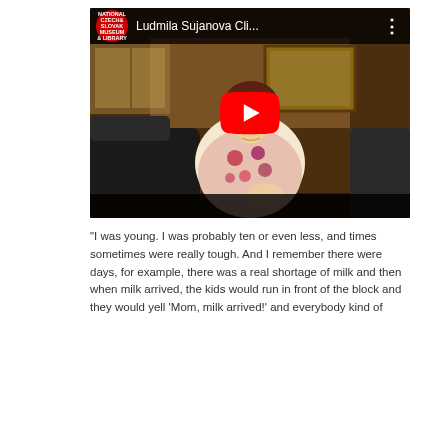[Figure (screenshot): YouTube video thumbnail showing a woman with dark hair wearing a floral dress sitting on a couch, with the video title 'Ludmila Sujanova Cli...' and a National Czech & Slovak Museum & Library logo, plus a red YouTube play button overlay.]
“I was young. I was probably ten or even less, and times sometimes were really tough. And I remember there were days, for example, there was a real shortage of milk and then when milk arrived, the kids would run in front of the block and they would yell ‘Mom, milk arrived!’ and everybody kind of